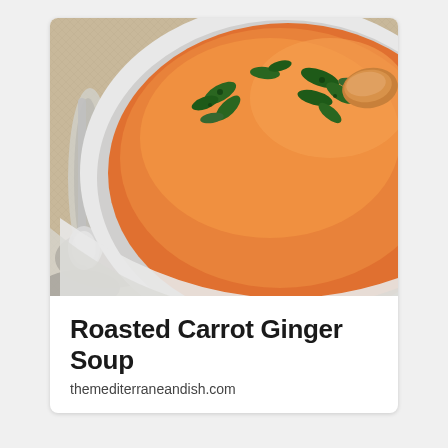[Figure (photo): Close-up photograph of a white bowl filled with orange roasted carrot ginger soup, topped with chopped fresh green herbs (cilantro or parsley). A silver spoon is visible to the left, and the bowl sits on a burlap/woven textile surface.]
Roasted Carrot Ginger Soup
themediterraneandish.com